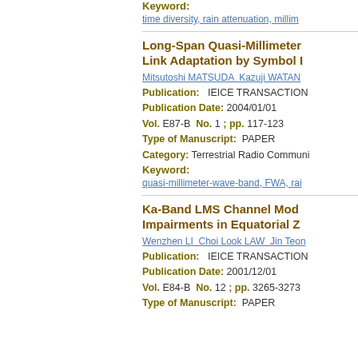Keyword:
time diversity, rain attenuation, millim...
Long-Span Quasi-Millimeter... Link Adaptation by Symbol ...
Mitsutoshi MATSUDA Kazuji WATAN...
Publication:   IEICE TRANSACTION...
Publication Date: 2004/01/01
Vol. E87-B  No. 1 ; pp. 117-123
Type of Manuscript:  PAPER
Category: Terrestrial Radio Communi...
Keyword:
quasi-millimeter-wave-band, FWA, rai...
Ka-Band LMS Channel Mod... Impairments in Equatorial Z...
Wenzhen LI Choi Look LAW Jin Teon...
Publication:   IEICE TRANSACTION...
Publication Date: 2001/12/01
Vol. E84-B  No. 12 ; pp. 3265-3273
Type of Manuscript:  PAPER